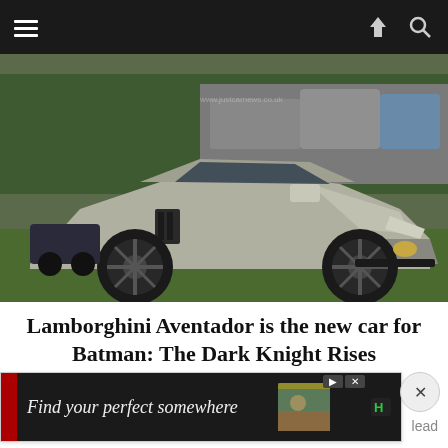Navigation header with hamburger menu and share/search icons
[Figure (photo): A silver/grey Lamborghini Aventador sports car parked on grass at what appears to be a film set, with production vehicles and equipment in the background. The car has black wheels and angular bodywork.]
Lamborghini Aventador is the new car for Batman: The Dark Knight Rises
Batman ... lead
[Figure (other): Advertisement banner: 'Find your perfect somewhere' with a red left border element, dark background, and a photo thumbnail on the right side.]